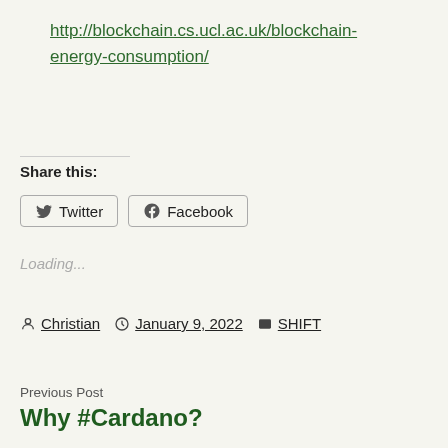http://blockchain.cs.ucl.ac.uk/blockchain-energy-consumption/
Share this:
Twitter  Facebook
Loading...
Christian  January 9, 2022  SHIFT
Previous Post
Why #Cardano?